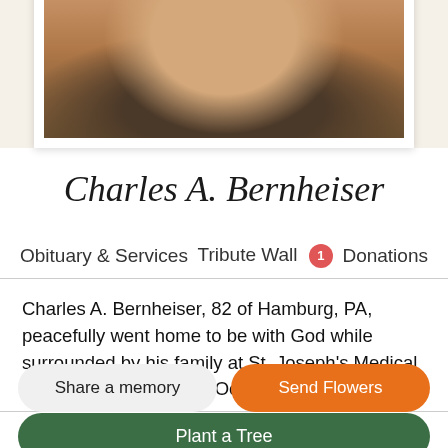[Figure (photo): Portrait photo of Charles A. Bernheiser, showing head and shoulders, warm tones]
Charles A. Bernheiser
Obituary & Services   Tribute Wall 1   Donations
Charles A. Bernheiser, 82 of Hamburg, PA, peacefully went home to be with God while surrounded by his family at St. Joseph's Medical Center on Wednesday, October 20, 2021.
Share a memory
Send Flowers
Plant a Tree